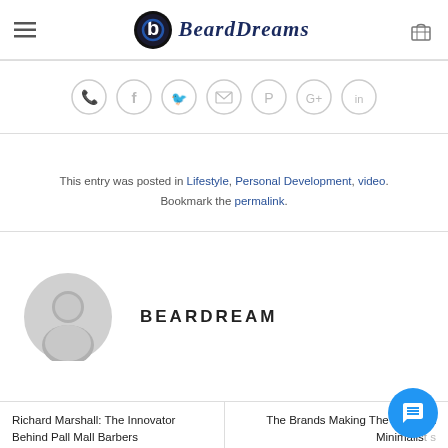BeardDreams
[Figure (infographic): Social sharing icon buttons in circles: phone, Facebook, Twitter, email, Pinterest, Google+, LinkedIn]
This entry was posted in Lifestyle, Personal Development, video. Bookmark the permalink.
BEARDREAM
Richard Marshall: The Innovator Behind Pall Mall Barbers
The Brands Making The Sleekest Minimalist Products